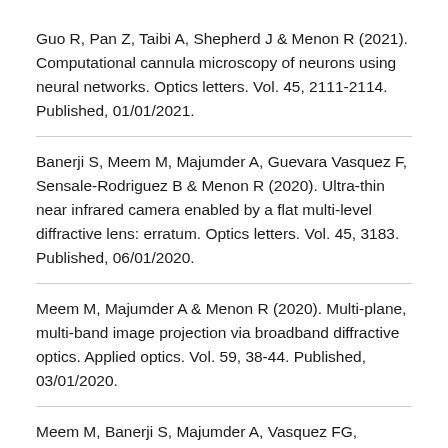Guo R, Pan Z, Taibi A, Shepherd J & Menon R (2021). Computational cannula microscopy of neurons using neural networks. Optics letters. Vol. 45, 2111-2114. Published, 01/01/2021.
Banerji S, Meem M, Majumder A, Guevara Vasquez F, Sensale-Rodriguez B & Menon R (2020). Ultra-thin near infrared camera enabled by a flat multi-level diffractive lens: erratum. Optics letters. Vol. 45, 3183. Published, 06/01/2020.
Meem M, Majumder A & Menon R (2020). Multi-plane, multi-band image projection via broadband diffractive optics. Applied optics. Vol. 59, 38-44. Published, 03/01/2020.
Meem M, Banerji S, Majumder A, Vasquez FG, Sensale-Rodriguez B & Menon R (2020). Broadband lightweight flat lenses for long-wave infrared imaging. Pre-publication of